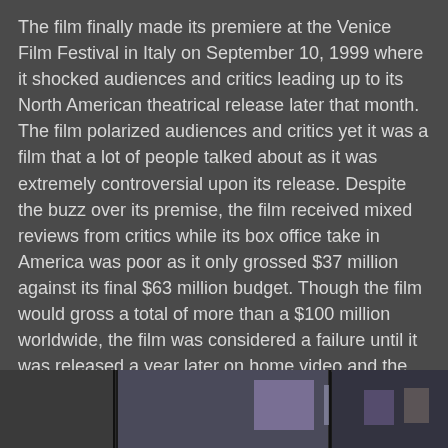The film finally made its premiere at the Venice Film Festival in Italy on September 10, 1999 where it shocked audiences and critics leading up to its North American theatrical release later that month. The film polarized audiences and critics yet it was a film that a lot of people talked about as it was extremely controversial upon its release. Despite the buzz over its premise, the film received mixed reviews from critics while its box office take in America was poor as it only grossed $37 million against its final $63 million budget. Though the film would gross a total of more than a $100 million worldwide, the film was considered a failure until it was released a year later on home video and the newly-emerged DVD where it became a massive hit in the home video market. The film would eventually have a cultural impact and become a lauded cult film as it would help Fincher's reputation as Hollywood's prince of darkness.
Panic Room
[Figure (photo): A dark, partially visible scene from Panic Room showing interior corridor or room with dim lighting and some colored elements visible.]